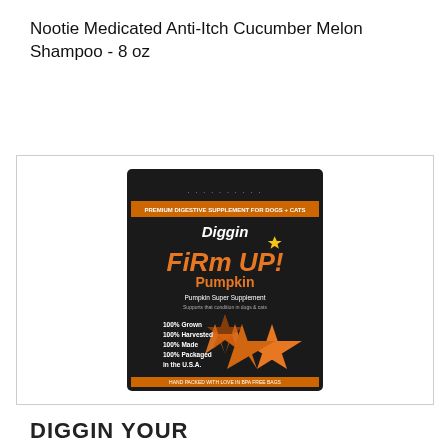Nootie Medicated Anti-Itch Cucumber Melon Shampoo - 8 oz
[Figure (photo): Product photo of Diggin Your Dog 'Firm Up! Pumpkin' supplement package — a black pouch with orange star graphic and text listing 100% Grown, 100% Harvested, 100% Made, 100% Packaged in the U.S.A.]
DIGGIN YOUR DOG